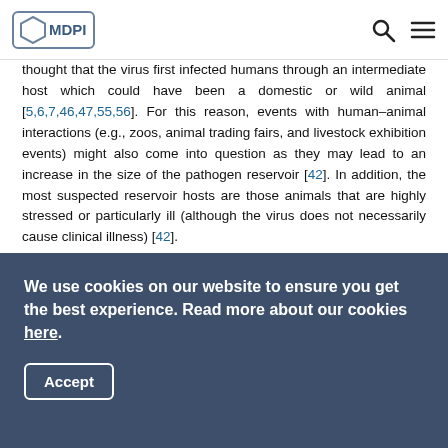MDPI
thought that the virus first infected humans through an intermediate host which could have been a domestic or wild animal [5,6,7,46,47,55,56]. For this reason, events with human–animal interactions (e.g., zoos, animal trading fairs, and livestock exhibition events) might also come into question as they may lead to an increase in the size of the pathogen reservoir [42]. In addition, the most suspected reservoir hosts are those animals that are highly stressed or particularly ill (although the virus does not necessarily cause clinical illness) [42]. In laboratory conditions, the incubation period in animals appears to be similar to humans (i.e., in the range of 2–14 days with a mean incubation of 5 days after infection) [1,2]. Current
We use cookies on our website to ensure you get the best experience. Read more about our cookies here. Accept